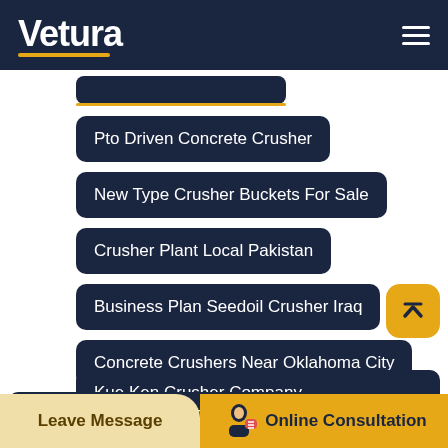Vetura
Pto Driven Concrete Crusher
New Type Crusher Buckets For Sale
Crusher Plant Local Pakistan
Business Plan Seedoil Crusher Iraq
Concrete Crushers Near Oklahoma City
Kue Ken Crusher Company
Dolomite Crushing Machine Colombo Sri Lanka
Leave Message   Online Consultation